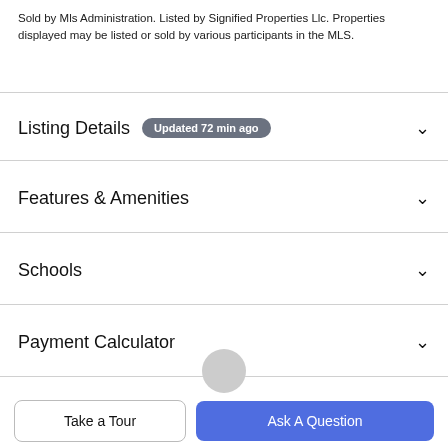Sold by Mls Administration. Listed by Signified Properties Llc. Properties displayed may be listed or sold by various participants in the MLS.
Listing Details Updated 72 min ago
Features & Amenities
Schools
Payment Calculator
Contact Agent
[Figure (other): Partial avatar/profile photo circle at bottom of Contact Agent section]
Take a Tour
Ask A Question